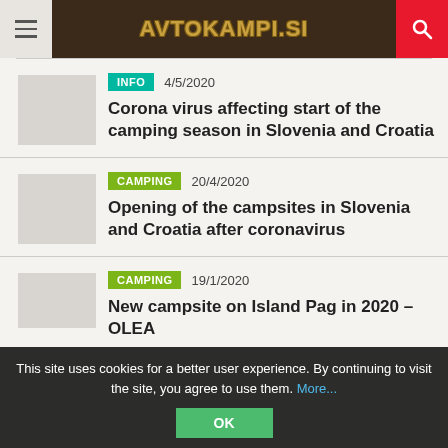AVTOKAMPI.SI
INFO  4/5/2020
Corona virus affecting start of the camping season in Slovenia and Croatia
CAMPING  20/4/2020
Opening of the campsites in Slovenia and Croatia after coronavirus
CAMPING  19/1/2020
New campsite on Island Pag in 2020 – OLEA
This site uses cookies for a better user experience. By continuing to visit the site, you agree to use them. More... OK